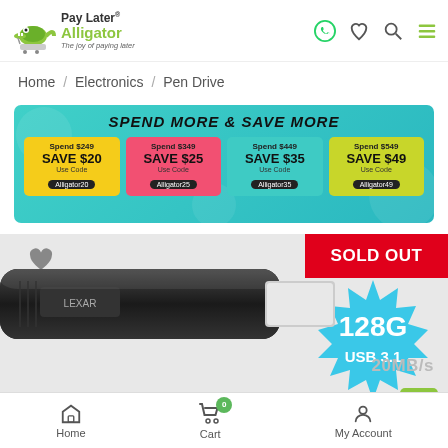Pay Later® Alligator — The joy of paying later
Home / Electronics / Pen Drive
[Figure (infographic): Promotional banner: SPEND MORE & SAVE MORE. Four cards: Spend $249 SAVE $20 Use Code Alligator20; Spend $349 SAVE $25 Use Code Alligator25; Spend $449 SAVE $35 Use Code Alligator35; Spend $549 SAVE $49 Use Code Alligator49]
[Figure (photo): Product image of a black USB 3.1 128GB pen drive on grey background with SOLD OUT badge and 128G USB 3.1 starburst badge. Speed text partially visible: 20MB/s]
Home   Cart (0)   My Account